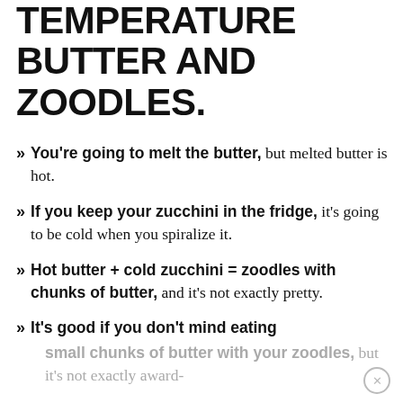TEMPERATURE BUTTER AND ZOODLES.
You're going to melt the butter, but melted butter is hot.
If you keep your zucchini in the fridge, it's going to be cold when you spiralize it.
Hot butter + cold zucchini = zoodles with chunks of butter, and it's not exactly pretty.
It's good if you don't mind eating small chunks of butter with your zoodles, but it's not exactly award-